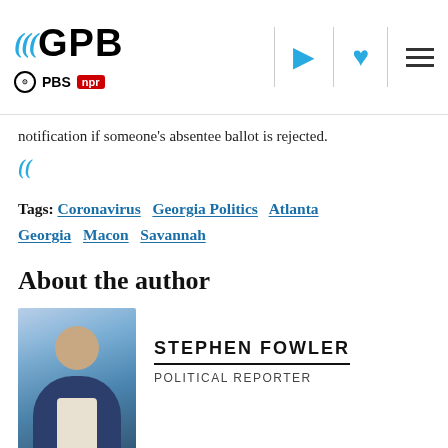GPB | PBS NPR
notification if someone's absentee ballot is rejected.
Tags: Coronavirus  Georgia Politics  Atlanta  Georgia  Macon  Savannah
About the author
[Figure (photo): Headshot of Stephen Fowler, political reporter, standing outdoors with city skyline in background]
STEPHEN FOWLER
POLITICAL REPORTER
Stephen Fowler is an award-winning reporter for GPB News covering state and local politics and host